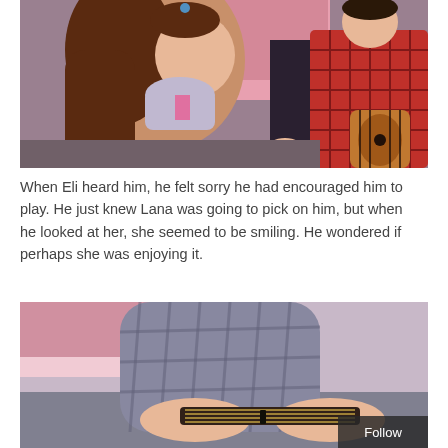[Figure (photo): Two dolls scene: a girl doll with long brown hair in a ponytail wearing a light purple top and scarf, looking sideways toward a boy doll wearing a red plaid shirt and holding a guitar, set against a pink background.]
When Eli heard him, he felt sorry he had encouraged him to play. He just knew Lana was going to pick on him, but when he looked at her, she seemed to be smiling. He wondered if perhaps she was enjoying it.
[Figure (photo): Close-up of a doll's hands in a grey plaid sweater playing or touching guitar strings, with a pink wall and grey carpet visible in the background.]